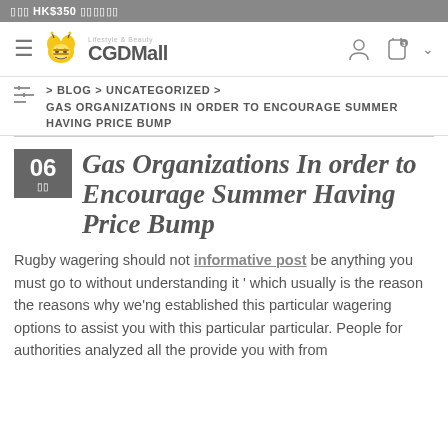🀫🀫🀫 HK$350 🀫🀫🀫🀫🀫
[Figure (logo): CGDMall logo with bee mascot and tagline 'Lifestyle & Beauty']
BLOG > UNCATEGORIZED > GAS ORGANIZATIONS IN ORDER TO ENCOURAGE SUMMER HAVING PRICE BUMP
Gas Organizations In order to Encourage Summer Having Price Bump
Rugby wagering should not informative post be anything you must go to without understanding it ' which usually is the reason the reasons why we'ng established this particular wagering options to assist you with this particular particular. People for authorities analyzed all the provide you with from